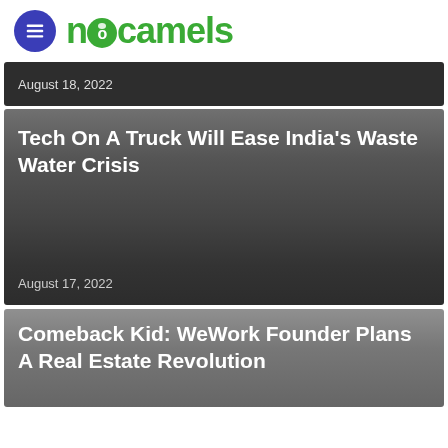nocamels
August 18, 2022
Tech On A Truck Will Ease India's Waste Water Crisis
August 17, 2022
Comeback Kid: WeWork Founder Plans A Real Estate Revolution